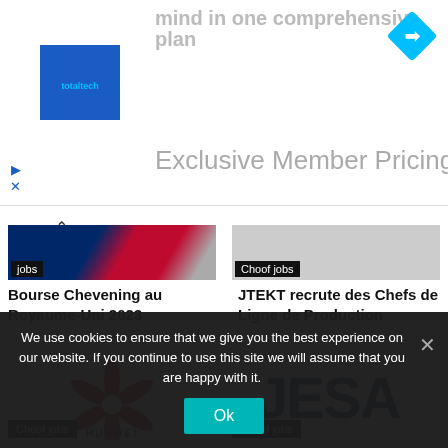[Figure (screenshot): Ad banner with totaltech logo, text 'mind in one comprehensive plan' grayed out, 'Exclusive Member Pricing' heading, navigation arrow icon top right, and close/play controls on left]
mind in one comprehensive plan
Exclusive Member Pricing
[Figure (photo): Left article card image with UK flag colors (blue, red, grey)]
Choof jobs
Bourse Chevening au Royaume-Uni 2023
Choof jobs
JTEKT recrute des Chefs de Ligne de Production
[Figure (logo): Huawei logo - red flower/petal design with HUAWEI text below]
Choof jobs
[Figure (logo): JESA logo in dark blue bold letters]
Choof jobs
We use cookies to ensure that we give you the best experience on our website. If you continue to use this site we will assume that you are happy with it.